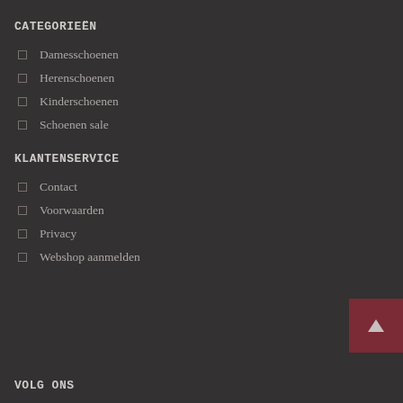CATEGORIEËN
Damesschoenen
Herenschoenen
Kinderschoenen
Schoenen sale
KLANTENSERVICE
Contact
Voorwaarden
Privacy
Webshop aanmelden
[Figure (other): Back to top button with triangle/arrow icon on dark red background]
VOLG ONS